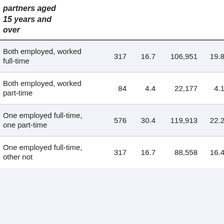|  |  |  |  |  |  |
| --- | --- | --- | --- | --- | --- |
| partners aged 15 years and over |  |  |  |  |  |
| Both employed, worked full-time | 317 | 16.7 | 106,951 | 19.8 | 1,084,… |
| Both employed, worked part-time | 84 | 4.4 | 22,177 | 4.1 | 203,… |
| One employed full-time, one part-time | 576 | 30.4 | 119,913 | 22.2 | 1,086,… |
| One employed full-time, other not | 317 | 16.7 | 88,558 | 16.4 | 749,… |